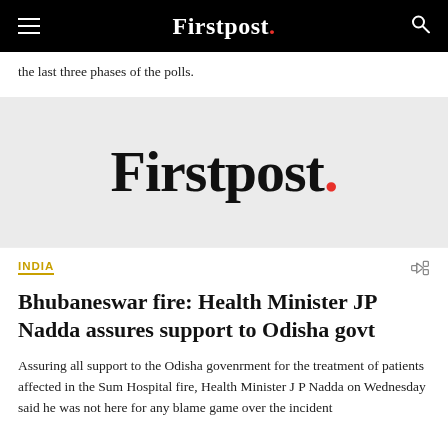Firstpost.
the last three phases of the polls.
[Figure (logo): Firstpost logo — large serif bold text 'Firstpost.' with red period, on light grey background]
INDIA
Bhubaneswar fire: Health Minister JP Nadda assures support to Odisha govt
Assuring all support to the Odisha govenrment for the treatment of patients affected in the Sum Hospital fire, Health Minister J P Nadda on Wednesday said he was not here for any blame game over the incident